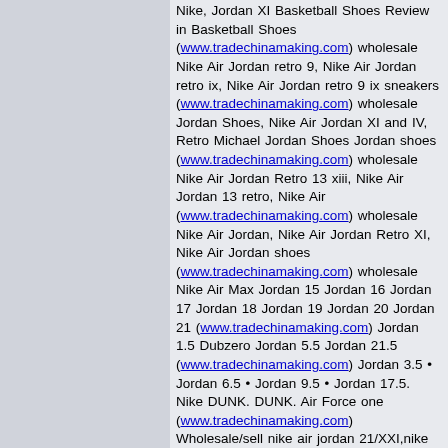Nike, Jordan XI Basketball Shoes Review in Basketball Shoes (www.tradechinamaking.com) wholesale Nike Air Jordan retro 9, Nike Air Jordan retro ix, Nike Air Jordan retro 9 ix sneakers (www.tradechinamaking.com) wholesale Jordan Shoes, Nike Air Jordan XI and IV, Retro Michael Jordan Shoes Jordan shoes (www.tradechinamaking.com) wholesale Nike Air Jordan Retro 13 xiii, Nike Air Jordan 13 retro, Nike Air (www.tradechinamaking.com) wholesale Nike Air Jordan, Nike Air Jordan Retro XI, Nike Air Jordan shoes (www.tradechinamaking.com) wholesale Nike Air Max Jordan 15 Jordan 16 Jordan 17 Jordan 18 Jordan 19 Jordan 20 Jordan 21 (www.tradechinamaking.com) Jordan 1.5 Dubzero Jordan 5.5 Jordan 21.5 (www.tradechinamaking.com) Jordan 3.5 • Jordan 6.5 • Jordan 9.5 • Jordan 17.5. Nike DUNK. DUNK. Air Force one (www.tradechinamaking.com) Wholesale/sell nike air jordan 21/XXI,nike shoes suppliers (www.tradechinamaking.com) sell nike air jordan, AF1,dunk,airmax,shox,gucci,timberland,bape (www.tradechinamaking.com) sell nike air jordan shoes for low price (www.tradechinamaking.com) CHINA